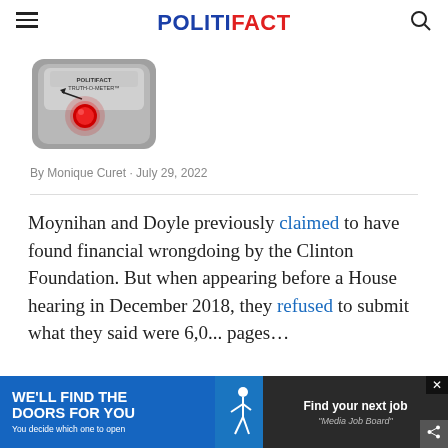POLITIFACT
[Figure (illustration): PolitiFact Truth-O-Meter gauge with red button lit]
By Monique Curet · July 29, 2022
Moynihan and Doyle previously claimed to have found financial wrongdoing by the Clinton Foundation. But when appearing before a House hearing in December 2018, they refused to submit what they said were 6,0... pages...
[Figure (infographic): Advertisement banner: WE'LL FIND THE DOORS FOR YOU - You decide which one to open. Find your next job - Media Job Board]